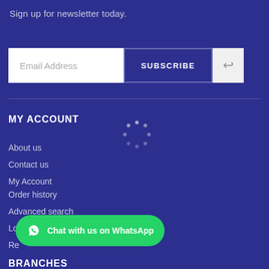Sign up for newsletter today.
[Figure (screenshot): Email address input field with SUBSCRIBE button and a reply/back arrow button partially visible on the right]
MY ACCOUNT
[Figure (other): Loading spinner dots arranged in a circle]
About us
Contact us
My Account
Order history
Advanced search
Lo...
Re...
[Figure (other): Green WhatsApp chat button with text: Chat with us on WhatsApp]
BRANCHES